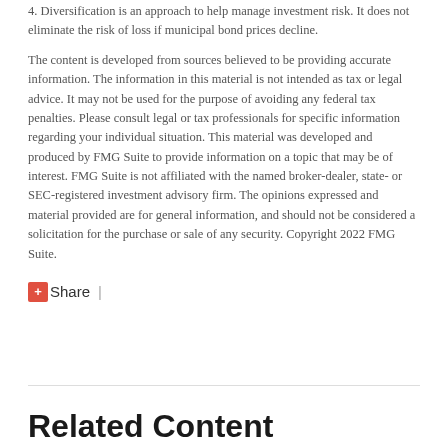4. Diversification is an approach to help manage investment risk. It does not eliminate the risk of loss if municipal bond prices decline.
The content is developed from sources believed to be providing accurate information. The information in this material is not intended as tax or legal advice. It may not be used for the purpose of avoiding any federal tax penalties. Please consult legal or tax professionals for specific information regarding your individual situation. This material was developed and produced by FMG Suite to provide information on a topic that may be of interest. FMG Suite is not affiliated with the named broker-dealer, state- or SEC-registered investment advisory firm. The opinions expressed and material provided are for general information, and should not be considered a solicitation for the purchase or sale of any security. Copyright 2022 FMG Suite.
Share |
Related Content